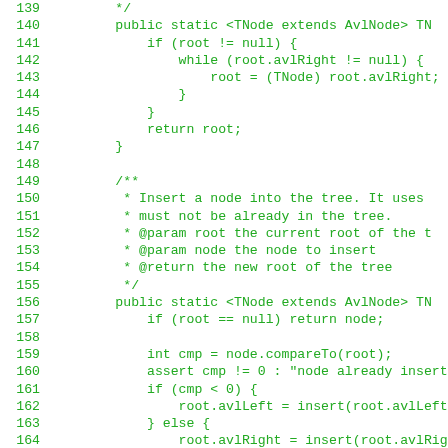Java source code lines 139-167 showing AVL tree methods: findMax (lines 139-147) and insert (lines 149-167) with Javadoc comments.